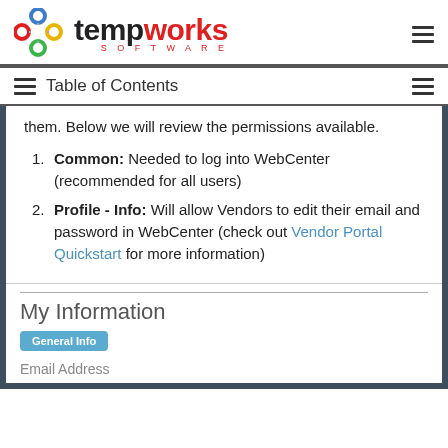[Figure (logo): Tempworks Software logo with colorful chain-link icon and bold text]
Table of Contents
them. Below we will review the permissions available.
Common: Needed to log into WebCenter (recommended for all users)
Profile - Info: Will allow Vendors to edit their email and password in WebCenter (check out Vendor Portal Quickstart for more information)
[Figure (screenshot): Screenshot of WebCenter My Information page showing General Info tab and Email Address field]